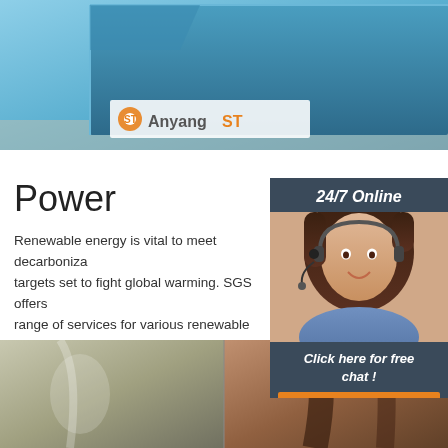[Figure (photo): Blue metal surface with AnyangST logo overlay — industrial equipment product photo]
Power
Renewable energy is vital to meet decarbonization targets set to fight global warming. SGS offers a range of services for various renewable power such as wind, solar, hydro and waste to energy. energy-related services can be used on a standalone basis or to augment your existing working processes methodologies.
[Figure (photo): Customer service representative with headset — 24/7 Online chat widget with 'Click here for free chat!' text and QUOTATION button]
Get Price
[Figure (photo): Close-up industrial metal parts — pipe or forge comparison photo at bottom of page]
[Figure (other): TOP navigation icon with orange dot pattern]